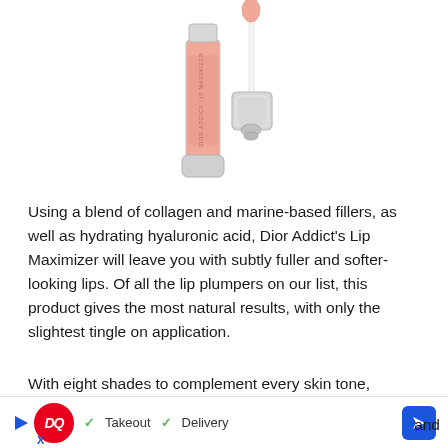[Figure (photo): Dior Addict Lip Maximizer lip gloss product photo: a pink lip gloss tube (open) with applicator wand, and the closed cap showing a silver square cap with logo, on white background.]
Using a blend of collagen and marine-based fillers, as well as hydrating hyaluronic acid, Dior Addict's Lip Maximizer will leave you with subtly fuller and softer-looking lips. Of all the lip plumpers on our list, this product gives the most natural results, with only the slightest tingle on application.
With eight shades to complement every skin tone, includ[ing...] plump[ers...] and